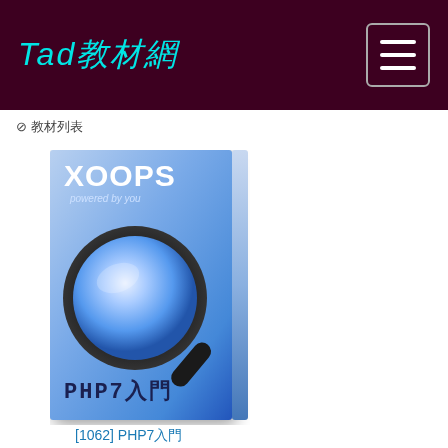Tad教材網
⊘ 教材列表
[Figure (illustration): Book cover for PHP7入門 with XOOPS branding, showing a magnifying glass graphic over a blue gradient background]
[1062] PHP7入門
[1062] PHP7入門